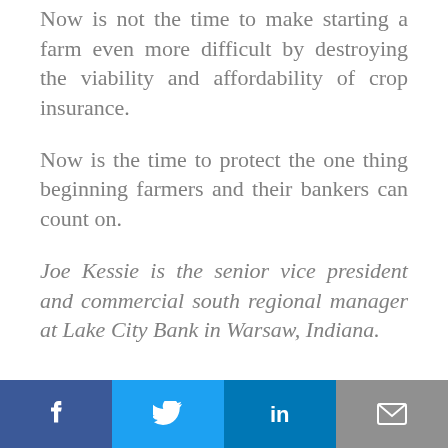Now is not the time to make starting a farm even more difficult by destroying the viability and affordability of crop insurance.
Now is the time to protect the one thing beginning farmers and their bankers can count on.
Joe Kessie is the senior vice president and commercial south regional manager at Lake City Bank in Warsaw, Indiana.
[Figure (infographic): Social sharing buttons: Facebook (blue), Twitter (light blue), LinkedIn (dark blue), Email (grey)]